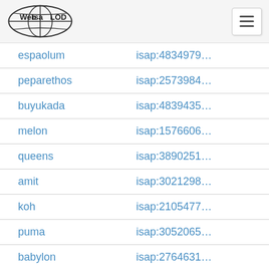Web isa LOD [navigation menu button]
| term | id |
| --- | --- |
| espaolum | isap:4834979… |
| peparethos | isap:2573984… |
| buyukada | isap:4839435… |
| melon | isap:1576606… |
| queens | isap:3890251… |
| amit | isap:3021298… |
| koh | isap:2105477… |
| puma | isap:3052065… |
| babylon | isap:2764631… |
| farming | isap:2670673… |
| brief | isap:1534177… |